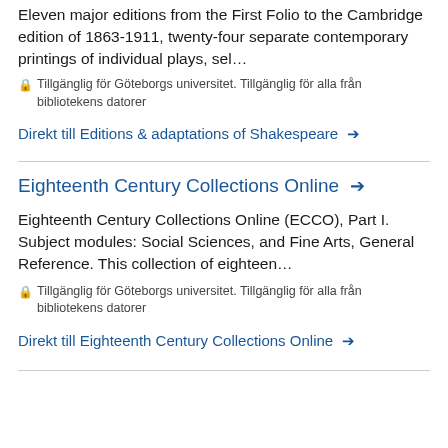Eleven major editions from the First Folio to the Cambridge edition of 1863-1911, twenty-four separate contemporary printings of individual plays, sel…
🔒 Tillgänglig för Göteborgs universitet. Tillgänglig för alla från bibliotekens datorer
Direkt till Editions & adaptations of Shakespeare →
Eighteenth Century Collections Online →
Eighteenth Century Collections Online (ECCO), Part I. Subject modules: Social Sciences, and Fine Arts, General Reference. This collection of eighteen…
🔒 Tillgänglig för Göteborgs universitet. Tillgänglig för alla från bibliotekens datorer
Direkt till Eighteenth Century Collections Online →